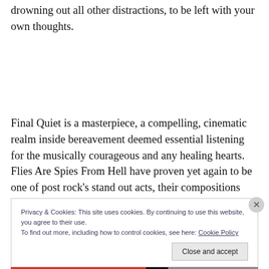drowning out all other distractions, to be left with your own thoughts.
Final Quiet is a masterpiece, a compelling, cinematic realm inside bereavement deemed essential listening for the musically courageous and any healing hearts. Flies Are Spies From Hell have proven yet again to be one of post rock's stand out acts, their compositions still so strong
Privacy & Cookies: This site uses cookies. By continuing to use this website, you agree to their use.
To find out more, including how to control cookies, see here: Cookie Policy
Close and accept